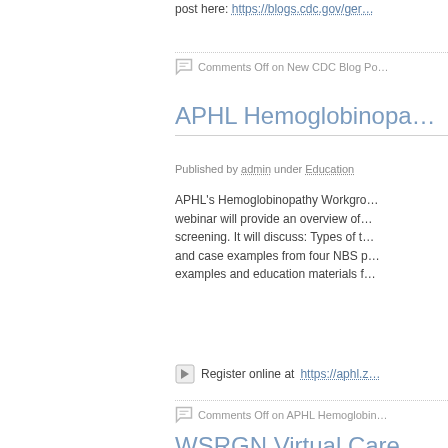post here: https://blogs.cdc.gov/ger…
Comments Off on New CDC Blog Po…
APHL Hemoglobinopa…
Published by admin under Education
APHL's Hemoglobinopathy Workgro… webinar will provide an overview of… screening. It will discuss: Types of t… and case examples from four NBS p… examples and education materials f…
Register online at https://aphl.z…
Comments Off on APHL Hemoglobin…
WSRGN Virtual Care…
Published by admin under Announce…